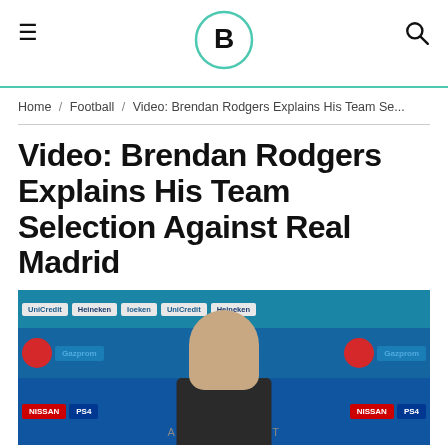Bleacher Report - navigation header with hamburger menu, B logo, and search icon
Home / Football / Video: Brendan Rodgers Explains His Team Se...
Video: Brendan Rodgers Explains His Team Selection Against Real Madrid
[Figure (photo): Press conference backdrop with sponsor logos (UniCredit, Heineken, MasterCard, Gazprom, Nissan, PS4, UEFA) and a man (Brendan Rodgers) facing away from camera]
ADVERTISEMENT